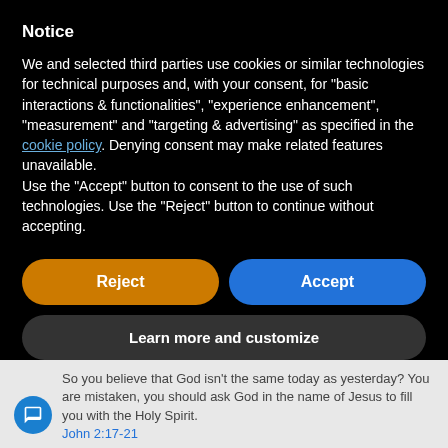Notice
We and selected third parties use cookies or similar technologies for technical purposes and, with your consent, for “basic interactions & functionalities”, “experience enhancement”, “measurement” and “targeting & advertising” as specified in the cookie policy. Denying consent may make related features unavailable.
Use the “Accept” button to consent to the use of such technologies. Use the “Reject” button to continue without accepting.
[Figure (screenshot): Two buttons side by side: orange 'Reject' button on left, blue 'Accept' button on right, followed by a dark grey 'Learn more and customize' button below]
So you believe that God isn’t the same today as yesterday? You are mistaken, you should ask God in the name of Jesus to fill you with the Holy Spirit. John 2:17-21